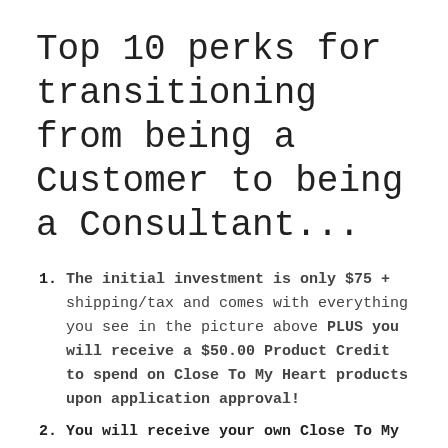Top 10 perks for transitioning from being a Customer to being a Consultant...
The initial investment is only $75 + shipping/tax and comes with everything you see in the picture above PLUS you will receive a $50.00 Product Credit to spend on Close To My Heart products upon application approval!
You will receive your own Close To My Heart